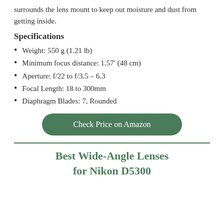surrounds the lens mount to keep out moisture and dust from getting inside.
Specifications
Weight: 550 g (1.21 lb)
Minimum focus distance: 1.57’ (48 cm)
Aperture: f/22 to f/3.5 – 6.3
Focal Length: 18 to 300mm
Diaphragm Blades: 7, Rounded
Check Price on Amazon
Best Wide-Angle Lenses for Nikon D5300